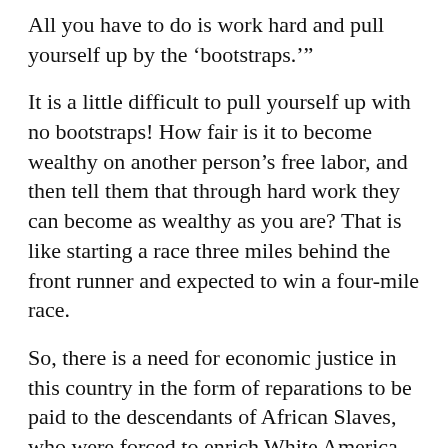All you have to do is work hard and pull yourself up by the ‘bootstraps.’”
It is a little difficult to pull yourself up with no bootstraps! How fair is it to become wealthy on another person’s free labor, and then tell them that through hard work they can become as wealthy as you are? That is like starting a race three miles behind the front runner and expected to win a four-mile race.
So, there is a need for economic justice in this country in the form of reparations to be paid to the descendants of African Slaves, who were forced to enrich White America, through much pain and suffering. The definition of reparations is “the making of amends for a wrong one has done, by paying money to or otherwise helping those who have been wronged.”